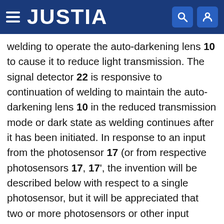JUSTIA
welding to operate the auto-darkening lens 10 to cause it to reduce light transmission. The signal detector 22 is responsive to continuation of welding to maintain the auto-darkening lens 10 in the reduced transmission mode or dark state as welding continues after it has been initiated. In response to an input from the photosensor 17 (or from respective photosensors 17, 17', the invention will be described below with respect to a single photosensor, but it will be appreciated that two or more photosensors or other input devices representative of welding may be used to provide inputs to the signal detectors 21, 22) that would indicate initiation of welding, the first signal detector 21 responds to cause a voltage control 23 to cause the auto-darkening lens 10 to assume a dark state.
Each signal detector 21, 22 includes an amplifier 24, 25